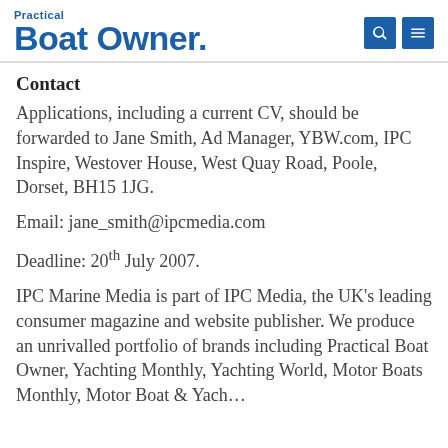Practical Boat Owner
Contact
Applications, including a current CV, should be forwarded to Jane Smith, Ad Manager, YBW.com, IPC Inspire, Westover House, West Quay Road, Poole, Dorset, BH15 1JG.
Email: jane_smith@ipcmedia.com
Deadline: 20th July 2007.
IPC Marine Media is part of IPC Media, the UK's leading consumer magazine and website publisher. We produce an unrivalled portfolio of brands including Practical Boat Owner, Yachting Monthly, Yachting World, Motor Boats Monthly, Motor Boat & Yachting, Classic Boat and YBW.